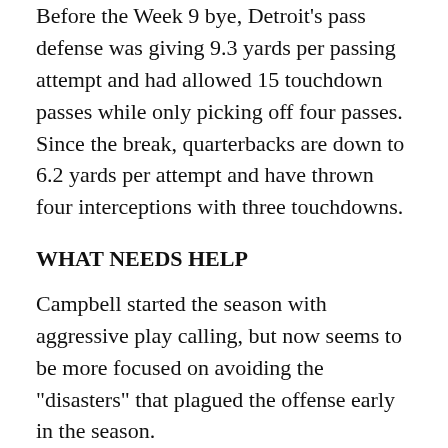Before the Week 9 bye, Detroit's pass defense was giving 9.3 yards per passing attempt and had allowed 15 touchdown passes while only picking off four passes. Since the break, quarterbacks are down to 6.2 yards per attempt and have thrown four interceptions with three touchdowns.
WHAT NEEDS HELP
Campbell started the season with aggressive play calling, but now seems to be more focused on avoiding the "disasters" that plagued the offense early in the season.
In the second quarter, he called a swing pass on second-and-26 that lost 6 yards, then followed with a third-and-32 draw. In the fourth quarter, on their last possession of the game, he ran on second-and-22 and